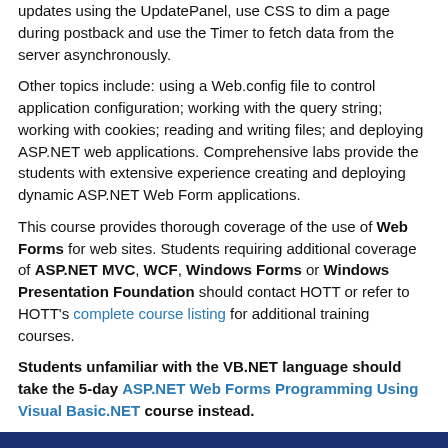updates using the UpdatePanel, use CSS to dim a page during postback and use the Timer to fetch data from the server asynchronously.
Other topics include: using a Web.config file to control application configuration; working with the query string; working with cookies; reading and writing files; and deploying ASP.NET web applications. Comprehensive labs provide the students with extensive experience creating and deploying dynamic ASP.NET Web Form applications.
This course provides thorough coverage of the use of Web Forms for web sites. Students requiring additional coverage of ASP.NET MVC, WCF, Windows Forms or Windows Presentation Foundation should contact HOTT or refer to HOTT's complete course listing for additional training courses.
Students unfamiliar with the VB.NET language should take the 5-day ASP.NET Web Forms Programming Using Visual Basic.NET course instead.
Course Prerequisites
Knowledge of fundamental HTML syntax is helpful, but not required. Prior experience with VB.NET is required.